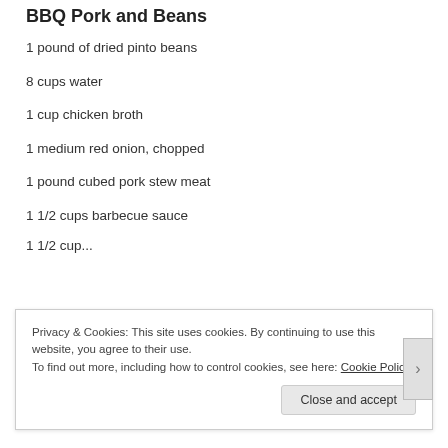BBQ Pork and Beans
1 pound of dried pinto beans
8 cups water
1 cup chicken broth
1 medium red onion, chopped
1 pound cubed pork stew meat
1 1/2 cups barbecue sauce
Privacy & Cookies: This site uses cookies. By continuing to use this website, you agree to their use.
To find out more, including how to control cookies, see here: Cookie Policy
Close and accept